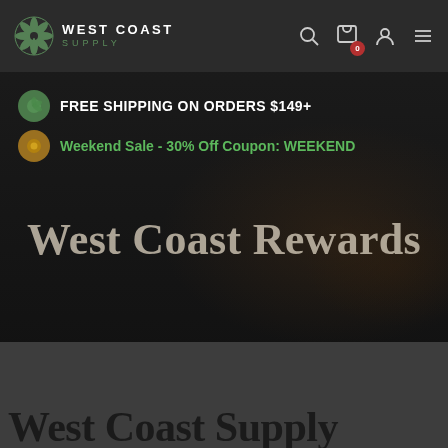WEST COAST SUPPLY
FREE SHIPPING ON ORDERS $149+
Weekend Sale - 30% Off Coupon: WEEKEND
West Coast Rewards
West Coast Supply